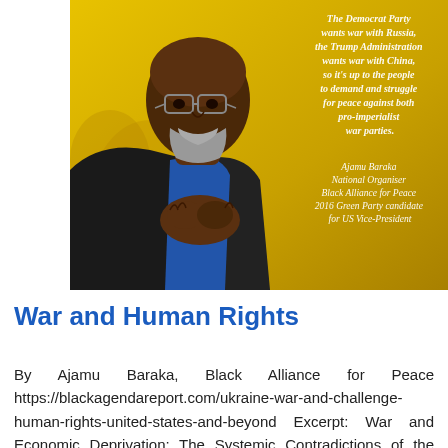[Figure (photo): Photo of Ajamu Baraka, a Black man with glasses and a gray beard, wearing a blue shirt and dark jacket, hands clasped, against a yellow background. Overlaid italic white text reads: 'The Democrat Party wants war with Russia, the Trump Administration wants war with China, so it's up to the people to demand and struggle for peace against both pro-imperialist war parties. — Ajamu Baraka, National Organiser, Black Alliance for Peace, 2016 Green Party candidate for US Vice-President']
War and Human Rights
By Ajamu Baraka, Black Alliance for Peace https://blackagendareport.com/ukraine-war-and-challenge-human-rights-united-states-and-beyond Excerpt: War and Economic Deprivation: The Systemic Contradictions of the Western colonial/capitalist Project. The war being waged